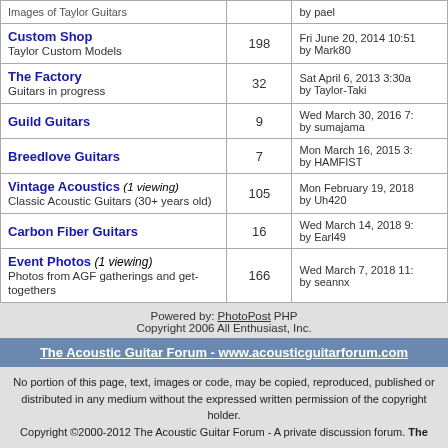| Forum | Count | Last Post |
| --- | --- | --- |
| Images of Taylor Guitars |  | by pael |
| Custom Shop
Taylor Custom Models | 198 | Fri June 20, 2014 10:51
by Mark80 |
| The Factory
Guitars in progress | 32 | Sat April 6, 2013 3:30a
by Taylor-Taki |
| Guild Guitars | 9 | Wed March 30, 2016 7:
by sumajama |
| Breedlove Guitars | 7 | Mon March 16, 2015 3:
by HAMFIST |
| Vintage Acoustics (1 viewing)
Classic Acoustic Guitars (30+ years old) | 105 | Mon February 19, 2018
by Uh420 |
| Carbon Fiber Guitars | 16 | Wed March 14, 2018 9:
by Earl49 |
| Event Photos (1 viewing)
Photos from AGF gatherings and get-togethers | 166 | Wed March 7, 2018 11:
by seannx |
Powered by: PhotoPost PHP
Copyright 2006 All Enthusiast, Inc.
The Acoustic Guitar Forum - www.acousticguitarforum.com
No portion of this page, text, images or code, may be copied, reproduced, published or distributed in any medium without the expressed written permission of the copyright holder.
Copyright ©2000-2012 The Acoustic Guitar Forum - A private discussion forum. The